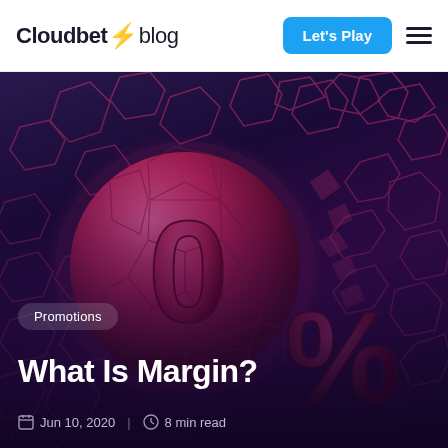Cloudbet blog
[Figure (illustration): 3D rendered image of a pink/magenta soccer ball with a 0% symbol breaking apart against a dark purple background with hexagonal geometric shapes]
Promotions
What Is Margin?
Jun 10, 2020 | 8 min read